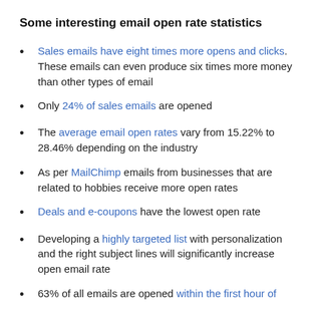Some interesting email open rate statistics
Sales emails have eight times more opens and clicks. These emails can even produce six times more money than other types of email
Only 24% of sales emails are opened
The average email open rates vary from 15.22% to 28.46% depending on the industry
As per MailChimp emails from businesses that are related to hobbies receive more open rates
Deals and e-coupons have the lowest open rate
Developing a highly targeted list with personalization and the right subject lines will significantly increase open email rate
63% of all emails are opened within the first hour of delivery